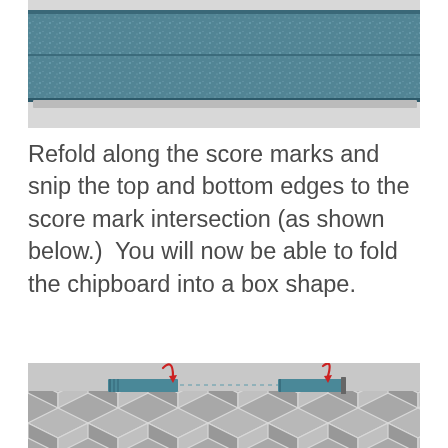[Figure (photo): A piece of glittery blue/teal chipboard folded in half horizontally, photographed on a light grey background.]
Refold along the score marks and snip the top and bottom edges to the score mark intersection (as shown below.)  You will now be able to fold the chipboard into a box shape.
[Figure (photo): A patterned paper or board showing a geometric hexagon/chevron pattern in grey and white, with two small teal/blue scored sections on either side connected by a dotted line, with red curved arrows pointing to each scored section.]